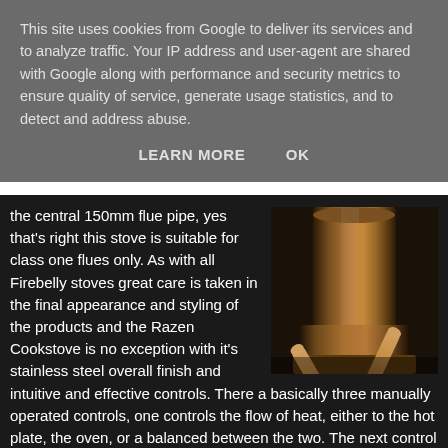This site uses cookies from Google to deliver its services and to analyze traffic. Your IP address and user-agent are shared with Google along with performance and security metrics to ensure quality of service, generate usage statistics, and to detect and address abuse.
LEARN MORE   OK
the central 150mm flue pipe, yes that's right this stove is suitable for class one flues only. As with all Firebelly stoves great care is taken in the final appearance and styling of the products and the Razen Cookstove is no exception with it's stainless steel overall finish and intuitive and effective controls. There a basically three manually operated controls, one controls the flow of heat, either to the hot plate, the oven, or a balanced between the two. The next control is a flue damper, this is an important control as it helps you maintain a proper pull on the flue as some flue pulls can be too strong and will help to burn logs too quickly. The Final
[Figure (photo): Close-up photo of a stove component showing a metallic bronze/copper colored cylindrical part with a handle or lever attached, against a dark background.]